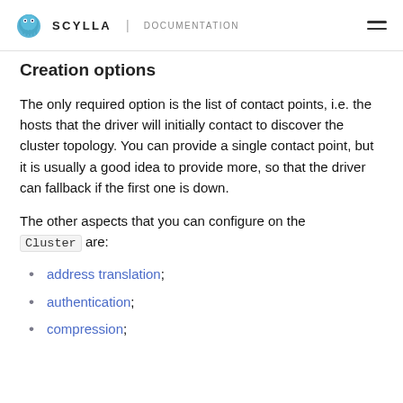SCYLLA | DOCUMENTATION
Creation options
The only required option is the list of contact points, i.e. the hosts that the driver will initially contact to discover the cluster topology. You can provide a single contact point, but it is usually a good idea to provide more, so that the driver can fallback if the first one is down.
The other aspects that you can configure on the Cluster are:
address translation;
authentication;
compression;